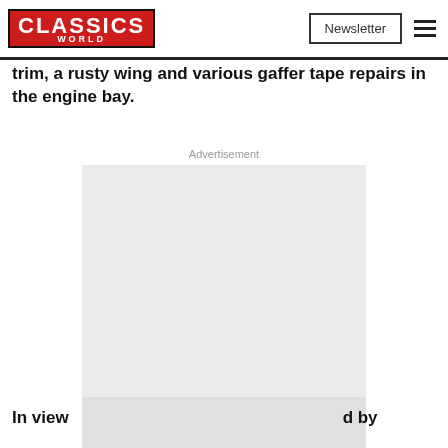CLASSICS WORLD | Newsletter | Menu
trim, a rusty wing and various gaffer tape repairs in the engine bay.
Advertisement
[Figure (other): Advertisement placeholder box (light gray rectangle)]
In view  d by